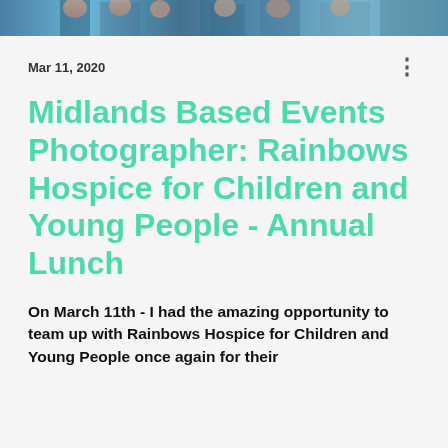[Figure (photo): Partial photo strip at the top of the page showing people at an event, cropped]
Mar 11, 2020
Midlands Based Events Photographer: Rainbows Hospice for Children and Young People - Annual Lunch
On March 11th - I had the amazing opportunity to team up with Rainbows Hospice for Children and Young People once again for their